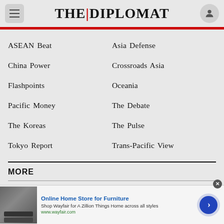THE|DIPLOMAT
ASEAN Beat
Asia Defense
China Power
Crossroads Asia
Flashpoints
Oceania
Pacific Money
The Debate
The Koreas
The Pulse
Tokyo Report
Trans-Pacific View
MORE
Features
Interviews
Photo Essays
Podcasts
[Figure (other): Advertisement for Wayfair Online Home Store for Furniture with arrow button]